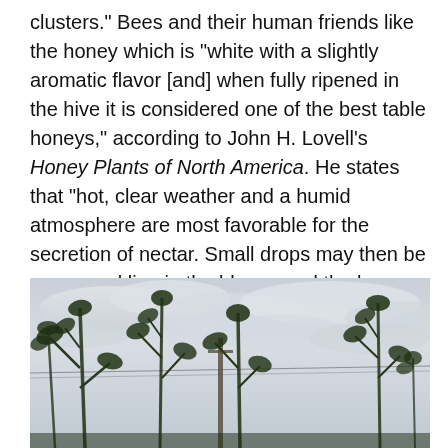clusters." Bees and their human friends like the honey which is "white with a slightly aromatic flavor [and] when fully ripened in the hive it is considered one of the best table honeys," according to John H. Lovell's Honey Plants of North America.  He states that "hot, clear weather and a humid atmosphere are most favorable for the secretion of nectar.  Small drops may then be seen sparkling in the bloom; and the bee may obtain a load from a single blossom." Worker bees, every one of which are female, would have liked RBG a great deal.
[Figure (photo): Outdoor photograph showing tall plants with leaves in the foreground against a cloudy grey sky. Utility poles and wires are visible in the background. The scene appears to be a garden or field with sunflower-like plants reaching upward.]